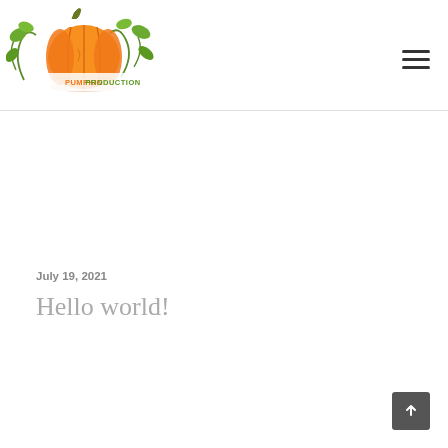[Figure (logo): Pumpkin Production logo: illustrated orange pumpkin with green vines and leaves, text 'PUMPKIN PRODUCTION' in orange and green below the pumpkin]
July 19, 2021
Hello world!